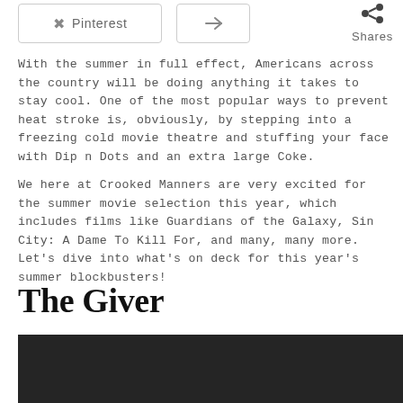Pinterest  [share icon]  Shares
With the summer in full effect, Americans across the country will be doing anything it takes to stay cool. One of the most popular ways to prevent heat stroke is, obviously, by stepping into a freezing cold movie theatre and stuffing your face with Dip n Dots and an extra large Coke.
We here at Crooked Manners are very excited for the summer movie selection this year, which includes films like Guardians of the Galaxy, Sin City: A Dame To Kill For, and many, many more. Let's dive into what's on deck for this year's summer blockbusters!
The Giver
[Figure (photo): Dark/black background image area at the bottom of the page, partially visible]